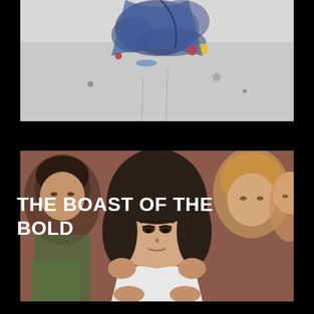[Figure (illustration): Top portion of an illustration showing animated characters with colorful elements on a light background, partially cropped at the top.]
[Figure (illustration): Illustrated image of a girl with dark hair and a white top in the center foreground, surrounded by other illustrated figures with reddish-brown tones. Text overlay reads THE BOAST OF THE BOLD.]
THE BOAST OF THE BOLD